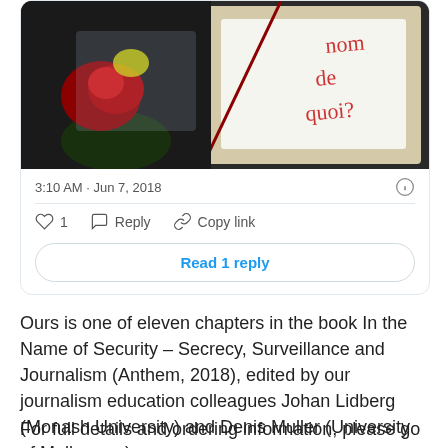[Figure (screenshot): Screenshot of a tweet showing a photo of red roses with a handwritten note in French reading 'nom de quoi?' with timestamp '3:10 AM · Jun 7, 2018', like/reply/copy link actions, and a 'Read 1 reply' button.]
Ours is one of eleven chapters in the book In the Name of Security – Secrecy, Surveillance and Journalism (Anthem, 2018), edited by our journalism education colleagues Johan Lidberg (Monash University) and Denis Muller (University of Melbourne).
For full details and ordering information, please go to the